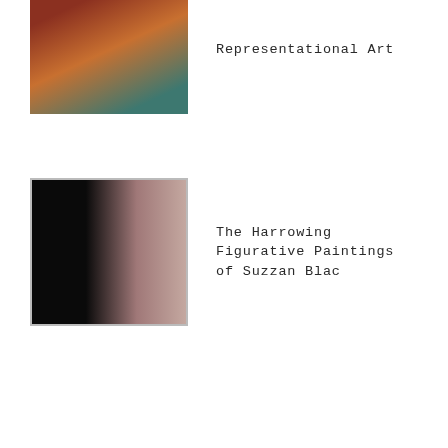Representational Art
The Harrowing Figurative Paintings of Suzzan Blac
Osho a "no show" (with 90 Rolls Royces)
"Good artists copy, great artists steal." Not so fast.
The Art Documentaries of Waldemar Januszczak in HD on YouTube